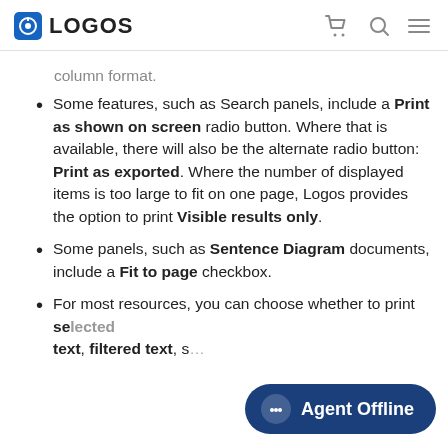LOGOS
column format.
Some features, such as Search panels, include a Print as shown on screen radio button. Where that is available, there will also be the alternate radio button: Print as exported. Where the number of displayed items is too large to fit on one page, Logos provides the option to print Visible results only.
Some panels, such as Sentence Diagram documents, include a Fit to page checkbox.
For most resources, you can choose whether to print selected text, filtered text, s...